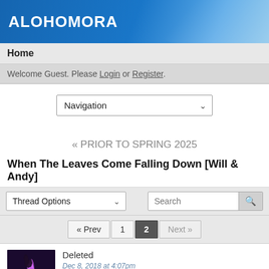ALOHOMORA
Home
Welcome Guest. Please Login or Register.
Navigation
« PRIOR TO SPRING 2025
When The Leaves Come Falling Down [Will & Andy]
Thread Options | Search
« Prev  1  2  Next »
Deleted
Dec 8, 2018 at 4:07pm